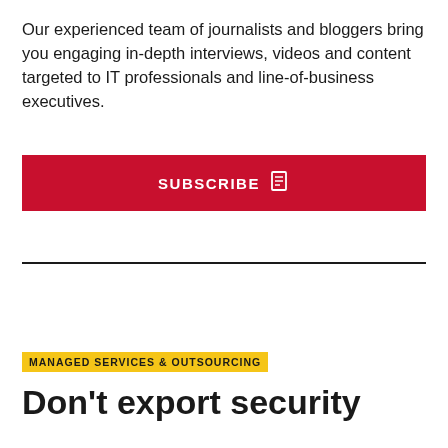Our experienced team of journalists and bloggers bring you engaging in-depth interviews, videos and content targeted to IT professionals and line-of-business executives.
[Figure (other): Red SUBSCRIBE button with document icon]
MANAGED SERVICES & OUTSOURCING
Don't export security